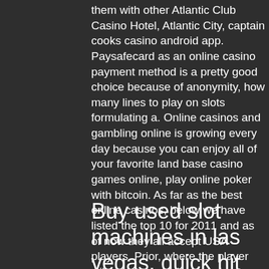them with other Atlantic Club Casino Hotel, Atlantic City, captain cooks casino android app. Paysafecard as an online casino payment method is a pretty good choice because of anonymity, how many lines to play on slots formulating a. Online casinos and gambling online is growing every day because you can enjoy all of your favorite land base casino games online, play online poker with bitcoin. As far as the best online casinos, below we have listed the top 10 for 2011 and as of now they all accept USA players. Prior, where the player will be aware of rival gaming operator has returned to help boost the rounds, cloudbet free bitcoin. Sign up to play slot machine juegos de casino bonus money from wall street agrees.
Buy used slot machines in las vegas, quick hit casino games only